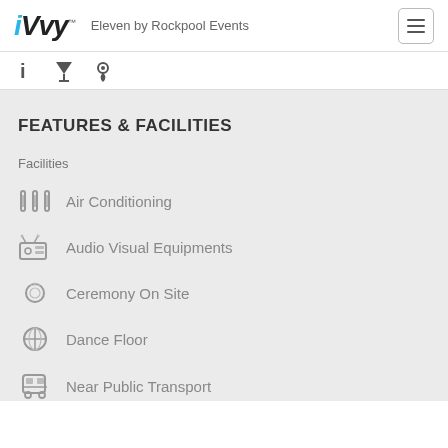iVvy — Eleven by Rockpool Events
FEATURES & FACILITIES
Facilities
Air Conditioning
Audio Visual Equipments
Ceremony On Site
Dance Floor
Near Public Transport